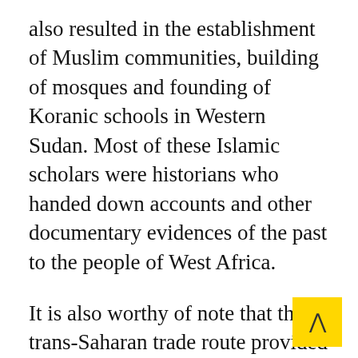also resulted in the establishment of Muslim communities, building of mosques and founding of Koranic schools in Western Sudan. Most of these Islamic scholars were historians who handed down accounts and other documentary evidences of the past to the people of West Africa.
It is also worthy of note that the trans-Saharan trade route provided beneficial links between the Western Sudan and the people of the forest zone on one hand, and the Maghreb. It was this route that made the wealth of the region known to the people of the outside world like